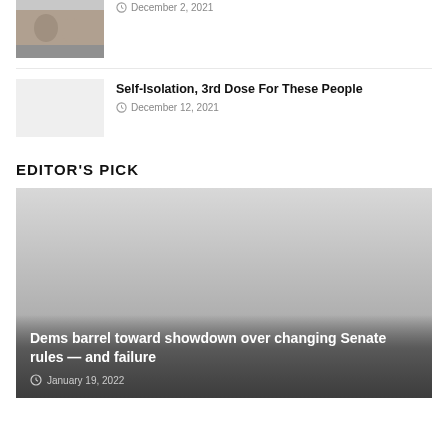[Figure (photo): Thumbnail image of people outdoors]
December 2, 2021
Self-Isolation, 3rd Dose For These People
December 12, 2021
EDITOR'S PICK
[Figure (photo): Large feature image placeholder (light grey to dark gradient)]
Dems barrel toward showdown over changing Senate rules — and failure
January 19, 2022